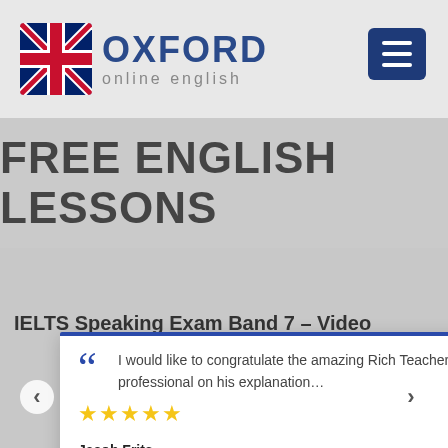[Figure (logo): Oxford Online English logo with UK flag and blue menu button]
FREE ENGLISH LESSONS
IELTS Speaking Exam Band 7 – Video
I would like to congratulate the amazing Rich Teacher, he had been very professional on his explanation…
★★★★★
Jacob Frits
view post
do to get